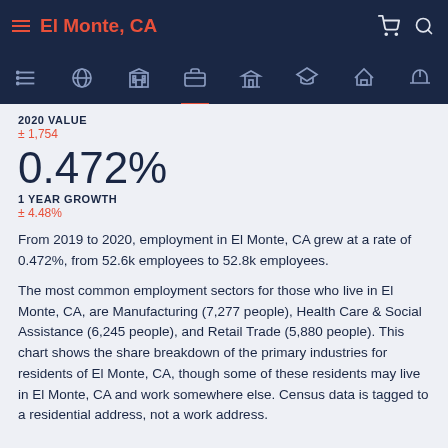El Monte, CA
2020 VALUE
± 1,754
0.472%
1 YEAR GROWTH
± 4.48%
From 2019 to 2020, employment in El Monte, CA grew at a rate of 0.472%, from 52.6k employees to 52.8k employees.
The most common employment sectors for those who live in El Monte, CA, are Manufacturing (7,277 people), Health Care & Social Assistance (6,245 people), and Retail Trade (5,880 people). This chart shows the share breakdown of the primary industries for residents of El Monte, CA, though some of these residents may live in El Monte, CA and work somewhere else. Census data is tagged to a residential address, not a work address.